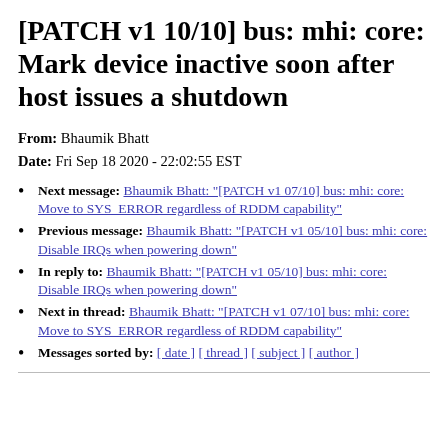[PATCH v1 10/10] bus: mhi: core: Mark device inactive soon after host issues a shutdown
From: Bhaumik Bhatt
Date: Fri Sep 18 2020 - 22:02:55 EST
Next message: Bhaumik Bhatt: "[PATCH v1 07/10] bus: mhi: core: Move to SYS_ERROR regardless of RDDM capability"
Previous message: Bhaumik Bhatt: "[PATCH v1 05/10] bus: mhi: core: Disable IRQs when powering down"
In reply to: Bhaumik Bhatt: "[PATCH v1 05/10] bus: mhi: core: Disable IRQs when powering down"
Next in thread: Bhaumik Bhatt: "[PATCH v1 07/10] bus: mhi: core: Move to SYS_ERROR regardless of RDDM capability"
Messages sorted by: [ date ] [ thread ] [ subject ] [ author ]